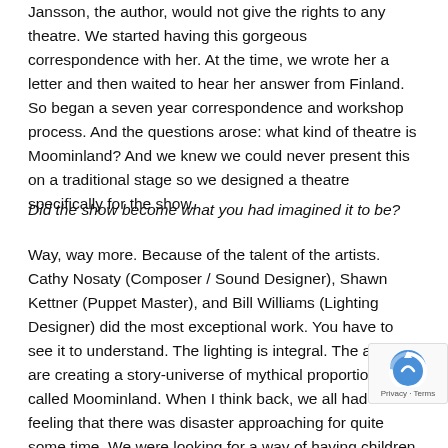Jansson, the author, would not give the rights to any theatre. We started having this gorgeous correspondence with her. At the time, we wrote her a letter and then waited to hear her answer from Finland. So began a seven year correspondence and workshop process. And the questions arose: what kind of theatre is Moominland? And we knew we could never present this on a traditional stage so we designed a theatre specifically for the show.
Did the show become what you had imagined it to be?
Way, way more. Because of the talent of the artists. Cathy Nosaty (Composer / Sound Designer), Shawn Kettner (Puppet Master), and Bill Williams (Lighting Designer) did the most exceptional work. You have to see it to understand. The lighting is integral. The actors are creating a story-universe of mythical proportions called Moominland. When I think back, we all had been feeling that there was disaster approaching for quite some time. We were looking for a way of having children experience some kind of catharsis in relation to their fear. Moomins are Tove's form of visual language. She was interested in providing emotional relief from the impending disaster and all the things that theatre encourages from laughter to deep reflection.
[Figure (other): reCAPTCHA privacy badge in bottom-right corner showing a blue recaptcha logo and Privacy · Terms text]